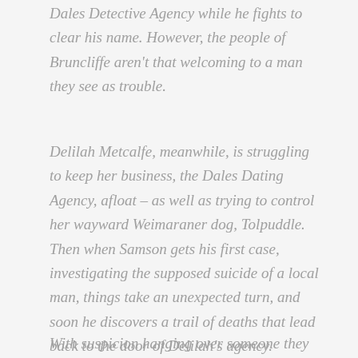Dales Detective Agency while he fights to clear his name. However, the people of Bruncliffe aren't that welcoming to a man they see as trouble.
Delilah Metcalfe, meanwhile, is struggling to keep her business, the Dales Dating Agency, afloat – as well as trying to control her wayward Weimaraner dog, Tolpuddle. Then when Samson gets his first case, investigating the supposed suicide of a local man, things take an unexpected turn, and soon he discovers a trail of deaths that lead back to the door of Delilah's agency.
With suspicion hanging over someone they